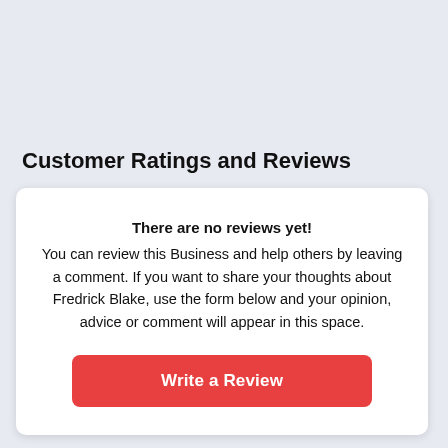Customer Ratings and Reviews
There are no reviews yet! You can review this Business and help others by leaving a comment. If you want to share your thoughts about Fredrick Blake, use the form below and your opinion, advice or comment will appear in this space.
Write a Review